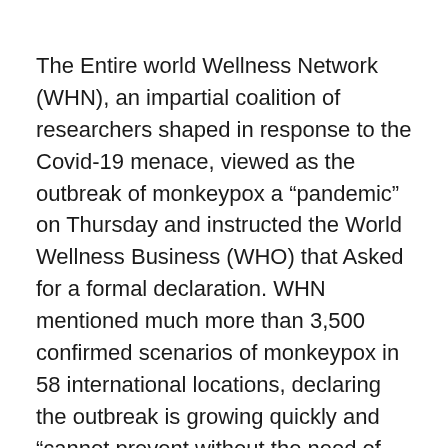The Entire world Wellness Network (WHN), an impartial coalition of researchers shaped in response to the Covid-19 menace, viewed as the outbreak of monkeypox a “pandemic” on Thursday and instructed the World Wellness Business (WHO) that Asked for a formal declaration. WHN mentioned much more than 3,500 confirmed scenarios of monkeypox in 58 international locations, declaring the outbreak is growing quickly and “cannot prevent without the need of world coordinated motion.”
Eric Feigl-Ding, an American community wellness scientist and co-founder of WHN, tweeted: Coordinated world action. “